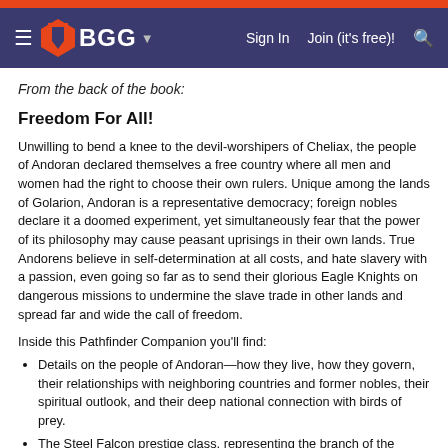BGG — Sign In  Join (it's free)!
From the back of the book:
Freedom For All!
Unwilling to bend a knee to the devil-worshipers of Cheliax, the people of Andoran declared themselves a free country where all men and women had the right to choose their own rulers. Unique among the lands of Golarion, Andoran is a representative democracy; foreign nobles declare it a doomed experiment, yet simultaneously fear that the power of its philosophy may cause peasant uprisings in their own lands. True Andorens believe in self-determination at all costs, and hate slavery with a passion, even going so far as to send their glorious Eagle Knights on dangerous missions to undermine the slave trade in other lands and spread far and wide the call of freedom.
Inside this Pathfinder Companion you'll find:
Details on the people of Andoran—how they live, how they govern, their relationships with neighboring countries and former nobles, their spiritual outlook, and their deep national connection with birds of prey.
The Steel Falcon prestige class, representing the branch of the Eagle Knights devoted to battling slavery.
A in-depth history of Andoran from humble beginnings...